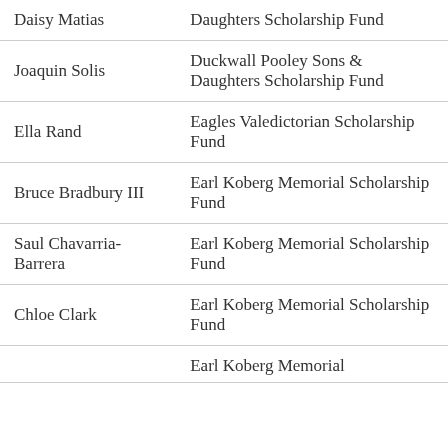| Name | Scholarship Fund |
| --- | --- |
| Daisy Matias (partial) | Daughters Scholarship Fund |
| Joaquin Solis | Duckwall Pooley Sons & Daughters Scholarship Fund |
| Ella Rand | Eagles Valedictorian Scholarship Fund |
| Bruce Bradbury III | Earl Koberg Memorial Scholarship Fund |
| Saul Chavarria-Barrera | Earl Koberg Memorial Scholarship Fund |
| Chloe Clark | Earl Koberg Memorial Scholarship Fund |
| (partial) | Earl Koberg Memorial |